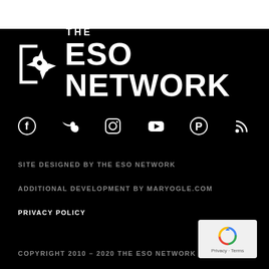[Figure (logo): The ESO Network logo — rocket icon in a bracket square with 'THE' above and 'ESO NETWORK' in large bold white text on black background]
[Figure (infographic): Row of 6 social media icons: Facebook, Twitter, Instagram, YouTube, Pinterest, RSS feed — all white on black]
SITE DESIGNED BY THE ESO NETWORK
ADDITIONAL DEVELOPMENT BY MARYOGLE.COM
PRIVACY POLICY
COPYRIGHT 2010 – 2020 THE ESO NETWORK
[Figure (logo): reCAPTCHA badge with blue/grey circular arrow logo and Privacy - Terms text]